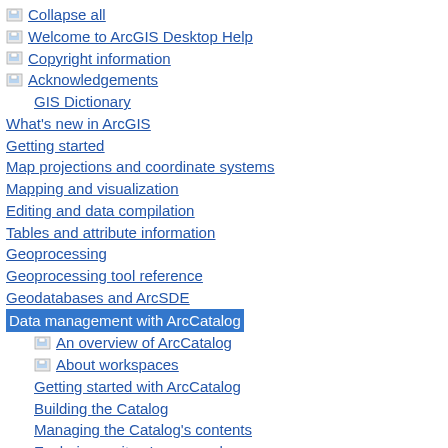Collapse all
Welcome to ArcGIS Desktop Help
Copyright information
Acknowledgements
GIS Dictionary
What's new in ArcGIS
Getting started
Map projections and coordinate systems
Mapping and visualization
Editing and data compilation
Tables and attribute information
Geoprocessing
Geoprocessing tool reference
Geodatabases and ArcSDE
Data management with ArcCatalog
An overview of ArcCatalog
About workspaces
Getting started with ArcCatalog
Building the Catalog
Managing the Catalog's contents
Exploring an item's geography
Searching for items
Working with metadata
Image and raster data management
Data support in ArcGIS